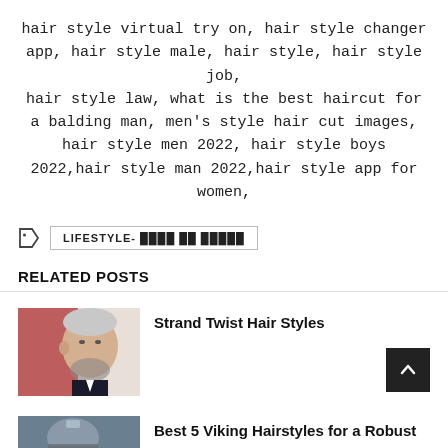hair style virtual try on, hair style changer app, hair style male, hair style, hair style job,
hair style law, what is the best haircut for a balding man, men's style hair cut images,
hair style men 2022, hair style boys 2022,hair style man 2022,hair style app for women,
LIFESTYLE- ████ ██ █████
RELATED POSTS
[Figure (photo): Photo of a man with short hair and beard wearing a suit, related post thumbnail]
Strand Twist Hair Styles
[Figure (photo): Photo thumbnail for Best 5 Viking Hairstyles post]
Best 5 Viking Hairstyles for a Robust